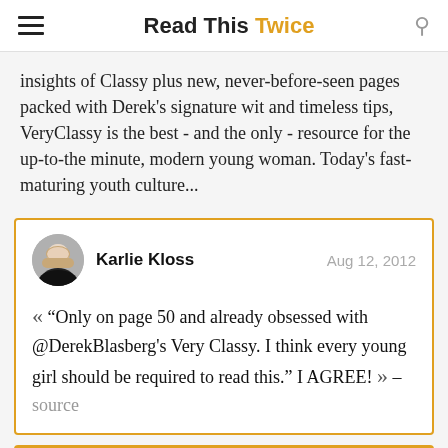Read This Twice
insights of Classy plus new, never-before-seen pages packed with Derek's signature wit and timeless tips, VeryClassy is the best - and the only - resource for the up-to-the minute, modern young woman. Today's fast-maturing youth culture...
Karlie Kloss  Aug 12, 2012
“ “Only on page 50 and already obsessed with @DerekBlasberg's Very Classy. I think every young girl should be required to read this.” I AGREE! ” – source
View on Amazon